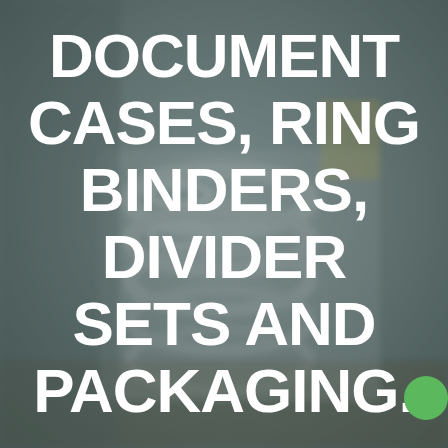[Figure (photo): Blurred background photo of ring binders/document cases stacked on a table, showing metal rings and papers, in muted grey-green tones]
DOCUMENT CASES, RING BINDERS, DIVIDER SETS AND PACKAGING.